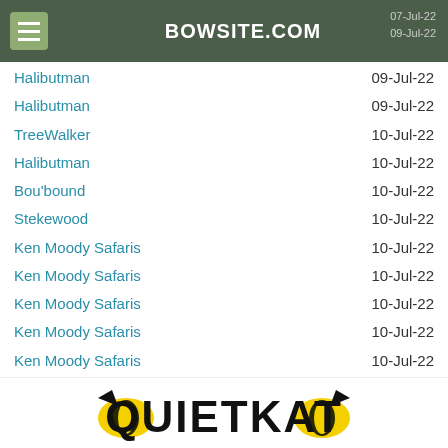BOWSITE.COM
Whatthefoc  07-Jul-22
fuzzy  09-Jul-22
Halibutman  09-Jul-22
Halibutman  09-Jul-22
TreeWalker  10-Jul-22
Halibutman  10-Jul-22
Bou'bound  10-Jul-22
Stekewood  10-Jul-22
Ken Moody Safaris  10-Jul-22
Ken Moody Safaris  10-Jul-22
Ken Moody Safaris  10-Jul-22
Ken Moody Safaris  10-Jul-22
Ken Moody Safaris  10-Jul-22
[Figure (logo): QuietKat logo with yellow cat eyes and black text, tagline: UNCHALLENGED POWER | UNYIELDING DURABILITY | UNLIMITED UTILITY]